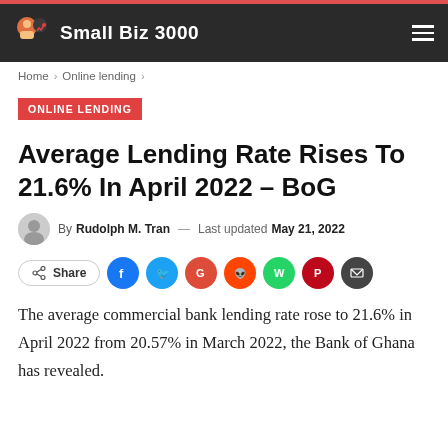Small Biz 3000
Home > Online lending >
ONLINE LENDING
Average Lending Rate Rises To 21.6% In April 2022 – BoG
By Rudolph M. Tran — Last updated May 21, 2022
Share
The average commercial bank lending rate rose to 21.6% in April 2022 from 20.57% in March 2022, the Bank of Ghana has revealed.